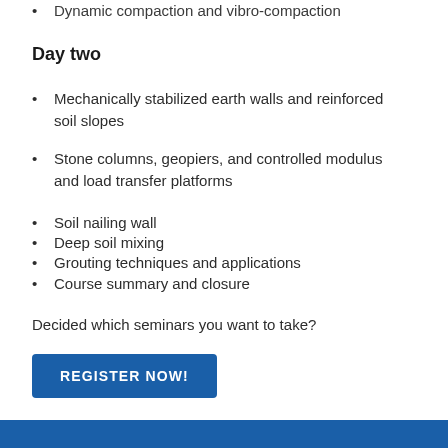Dynamic compaction and vibro-compaction
Day two
Mechanically stabilized earth walls and reinforced soil slopes
Stone columns, geopiers, and controlled modulus and load transfer platforms
Soil nailing wall
Deep soil mixing
Grouting techniques and applications
Course summary and closure
Decided which seminars you want to take?
[Figure (other): Blue 'REGISTER NOW!' button]